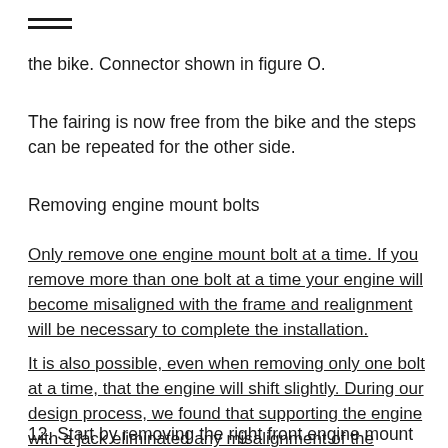—
the bike. Connector shown in figure O.
The fairing is now free from the bike and the steps can be repeated for the other side.
Removing engine mount bolts
Only remove one engine mount bolt at a time. If you remove more than one bolt at a time your engine will become misaligned with the frame and realignment will be necessary to complete the installation.
It is also possible, even when removing only one bolt at a time, that the engine will shift slightly. During our design process, we found that supporting the engine with a jack eliminated any misalignment of the engine and frame.
12. Start by removing the right front engine mount bolt